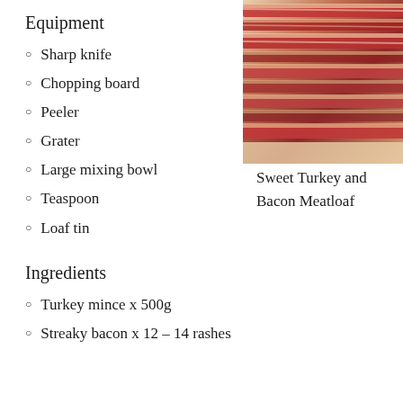Equipment
Sharp knife
Chopping board
Peeler
Grater
Large mixing bowl
Teaspoon
Loaf tin
[Figure (photo): Close-up photo of streaky bacon slices, showing red and white marbled meat texture.]
Sweet Turkey and Bacon Meatloaf
Ingredients
Turkey mince x 500g
Streaky bacon x 12 – 14 rashes